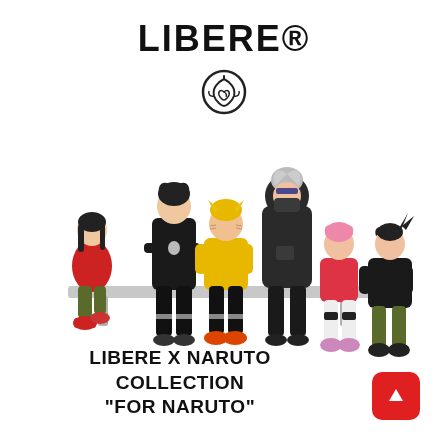LIBERE®
[Figure (illustration): Naruto leaf village symbol (swirl with circle outline)]
[Figure (illustration): Anime-style illustration of six Naruto characters (Itachi, Sasuke, Naruto, Kakashi, Sakura, Shikamaru) sitting on a bench wearing streetwear / Libere branded clothing]
LIBERE X NARUTO COLLECTION "FOR NARUTO"